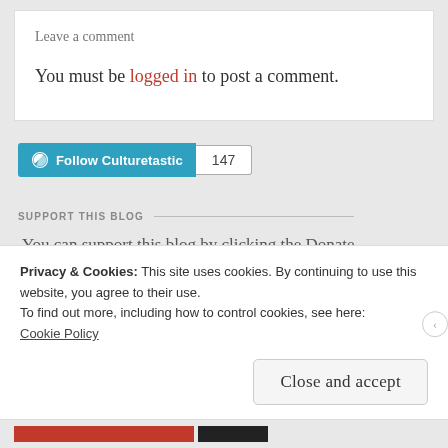Leave a comment
You must be logged in to post a comment.
[Figure (other): WordPress Follow button for Culturetastic with follower count 147]
SUPPORT THIS BLOG
You can support this blog by clicking the Donate
Privacy & Cookies: This site uses cookies. By continuing to use this website, you agree to their use.
To find out more, including how to control cookies, see here:
Cookie Policy
Close and accept